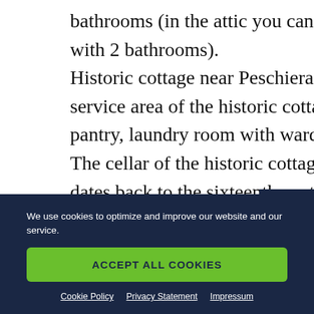bathrooms (in the attic you can easily obtain further 2 bedrooms with 2 bathrooms). Historic cottage near Peschiera del Garda – Service Area: in the service area of the historic cottage near Peschiera del Garda are the pantry, laundry room with wardrobe and the technical rooms. The cellar of the historic cottage near Peschiera del Garda, which dates back to the sixteenth century, is an excellent place to
We use cookies to optimize and improve our website and our service.
ACCEPT ALL COOKIES
Cookie Policy   Privacy Statement   Impressum